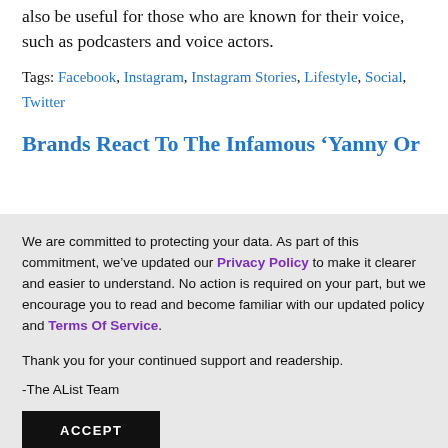also be useful for those who are known for their voice, such as podcasters and voice actors.
Tags: Facebook, Instagram, Instagram Stories, Lifestyle, Social, Twitter
Brands React To The Infamous ‘Yanny Or
We are committed to protecting your data. As part of this commitment, we’ve updated our Privacy Policy to make it clearer and easier to understand. No action is required on your part, but we encourage you to read and become familiar with our updated policy and Terms Of Service.
Thank you for your continued support and readership.
-The AList Team
ACCEPT